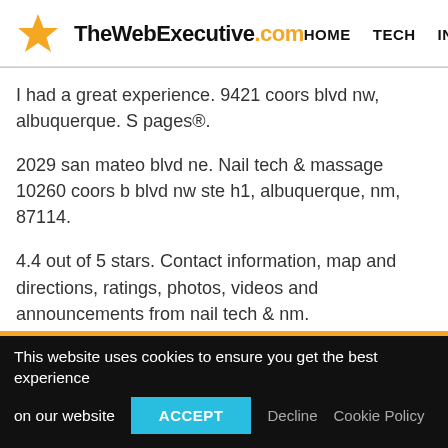TheWebExecutive.com  HOME  TECH  IN
I had a great experience. 9421 coors blvd nw, albuquerque. S pages®.
2029 san mateo blvd ne. Nail tech & massage 10260 coors blvd nw ste h1, albuquerque, nm, 87114.
4.4 out of 5 stars. Contact information, map and directions, ratings, photos, videos and announcements from nail tech & nm.
This website uses cookies to ensure you get the best experience on our website  ACCEPT  Decline  Cookie Policy